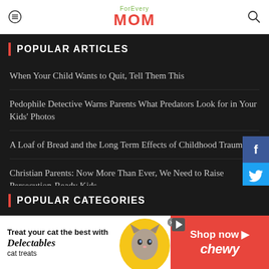For Every MOM
POPULAR ARTICLES
When Your Child Wants to Quit, Tell Them This
Pedophile Detective Warns Parents What Predators Look for in Your Kids' Photos
A Loaf of Bread and the Long Term Effects of Childhood Traum
Christian Parents: Now More Than Ever, We Need to Raise Persecution-Ready Kids
'You Can't Fix Her': To the Man Whose Wife Has Anxiety
POPULAR CATEGORIES
[Figure (other): Advertisement banner for Chewy featuring Delectables cat treats. Left side white background with text 'Treat your cat the best with Delectables cat treats', center shows a cat image with yellow heart shape, right side red background with 'Shop now' and 'chewy' logo.]